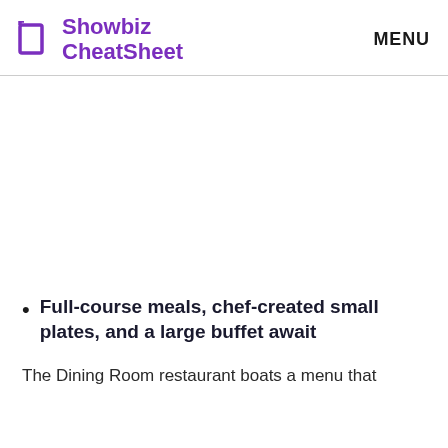Showbiz CheatSheet   MENU
Full-course meals, chef-created small plates, and a large buffet await
The Dining Room restaurant boats a menu that